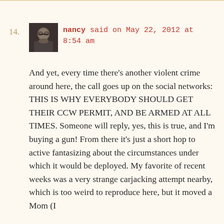14.
[Figure (photo): Small avatar photo of a person wearing glasses, dark-toned portrait photo]
nancy said on May 22, 2012 at 8:54 am
And yet, every time there's another violent crime around here, the call goes up on the social networks: THIS IS WHY EVERYBODY SHOULD GET THEIR CCW PERMIT, AND BE ARMED AT ALL TIMES. Someone will reply, yes, this is true, and I'm buying a gun! From there it's just a short hop to active fantasizing about the circumstances under which it would be deployed. My favorite of recent weeks was a very strange carjacking attempt nearby, which is too weird to reproduce here, but it moved a Mom (I